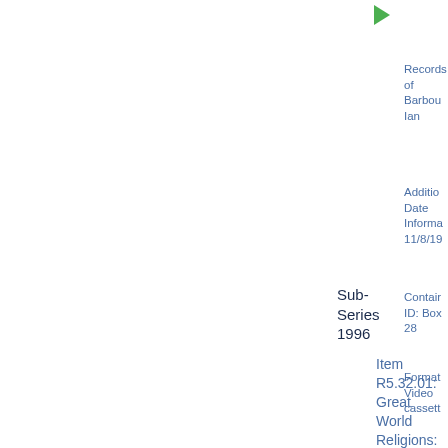[Figure (other): Green right-pointing triangle/arrow icon]
Records of Barbour Ian
Additional Date Information: 11/8/19
Container ID: Box 28
Format: Video cassette
Sub-Series 1996
Item R5.32.01: Great World Religions: Beliefs, Practices